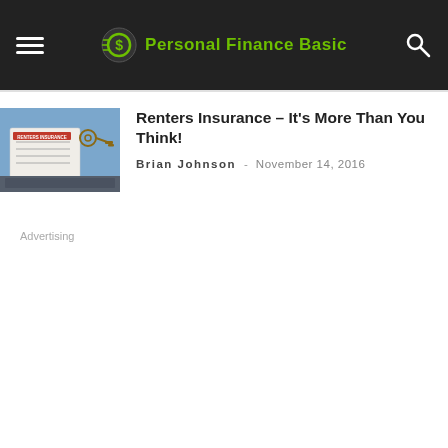Personal Finance Basic
[Figure (photo): Thumbnail image of a renters insurance document form with keys on top and a laptop in the background]
Renters Insurance – It’s More Than You Think!
Brian Johnson - November 14, 2016
Advertising